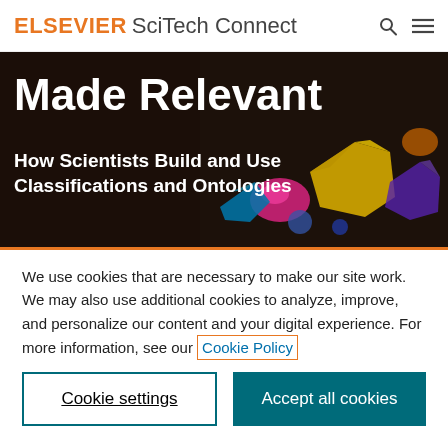ELSEVIER SciTech Connect
[Figure (photo): Book cover image showing colorful gemstones on dark background with text 'Made Relevant: How Scientists Build and Use Classifications and Ontologies']
We use cookies that are necessary to make our site work. We may also use additional cookies to analyze, improve, and personalize our content and your digital experience. For more information, see our Cookie Policy
Cookie settings
Accept all cookies